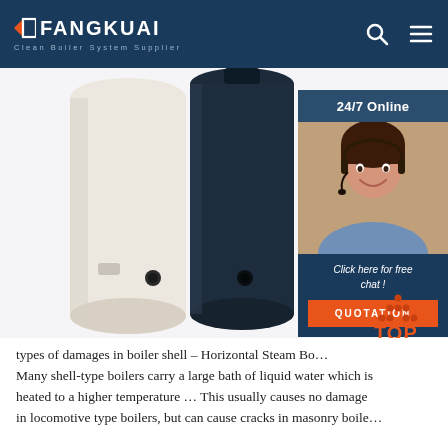FANGKUAI Clean Boiler System Supplier
[Figure (photo): Two tall cylindrical boilers side by side - one white/cream and one dark navy blue, standing vertically. Each has a small port/fitting near the bottom. Chat widget overlay on right side showing a customer service representative wearing a headset, with '24/7 Online' label, 'Click here for free chat!' text and QUOTATION button.]
types of damages in boiler shell – Horizontal Steam Bo… Many shell-type boilers carry a large bath of liquid water which is heated to a higher temperature … This usually causes no damage in locomotive type boilers, but can cause cracks in masonry boile…